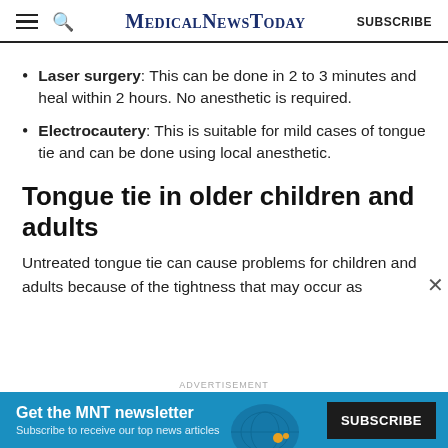MedicalNewsToday SUBSCRIBE
Laser surgery: This can be done in 2 to 3 minutes and heal within 2 hours. No anesthetic is required.
Electrocautery: This is suitable for mild cases of tongue tie and can be done using local anesthetic.
Tongue tie in older children and adults
Untreated tongue tie can cause problems for children and adults because of the tightness that may occur as
[Figure (other): Advertisement banner: Get the MNT newsletter. Subscribe to receive our top news articles. SUBSCRIBE button.]